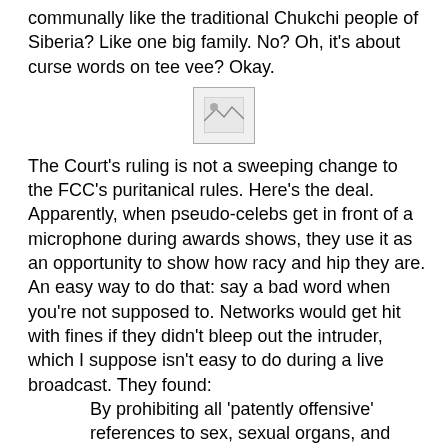communally like the traditional Chukchi people of Siberia? Like one big family. No? Oh, it's about curse words on tee vee? Okay.
[Figure (other): Broken image placeholder icon]
The Court's ruling is not a sweeping change to the FCC's puritanical rules. Here's the deal. Apparently, when pseudo-celebs get in front of a microphone during awards shows, they use it as an opportunity to show how racy and hip they are. An easy way to do that: say a bad word when you're not supposed to. Networks would get hit with fines if they didn't bleep out the intruder, which I suppose isn't easy to do during a live broadcast. They found:
By prohibiting all 'patently offensive' references to sex, sexual organs, and excretion without giving adequate guidance as to what 'patently offensive' means, the FCC effectively chills speech, because broadcasters have no way of knowing what the FCC will find offensive. To place any discussion of these vast topics at the